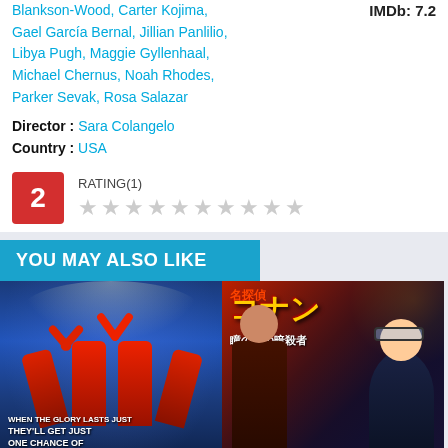Blankson-Wood, Carter Kojima, Gael García Bernal, Jillian Panlilio, Libya Pugh, Maggie Gyllenhaal, Michael Chernus, Noah Rhodes, Parker Sevak, Rosa Salazar
IMDb: 7.2
Director : Sara Colangelo
Country : USA
RATING(1)
2
YOU MAY ALSO LIKE
[Figure (photo): Cheerleading movie poster with athletes in red uniforms, text 'THEY'LL GET JUST ONE CHANCE OF Going for...']
[Figure (photo): Anime movie poster for Detective Conan with Japanese text コナン and 瞳の中の暗殺者]